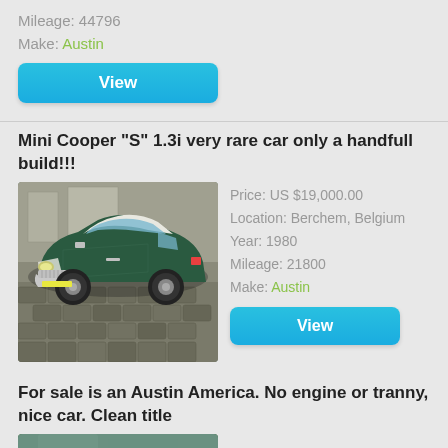Mileage: 44796
Make: Austin
View
Mini Cooper "S" 1.3i very rare car only a handfull build!!!
[Figure (photo): Green Mini Cooper S classic car parked on cobblestone driveway, white roof and racing stripe, front 3/4 view]
Price: US $19,000.00
Location: Berchem, Belgium
Year: 1980
Mileage: 21800
Make: Austin
View
For sale is an Austin America. No engine or tranny, nice car. Clean title
[Figure (photo): Partial view of a car on grass, bottom of image cropped]